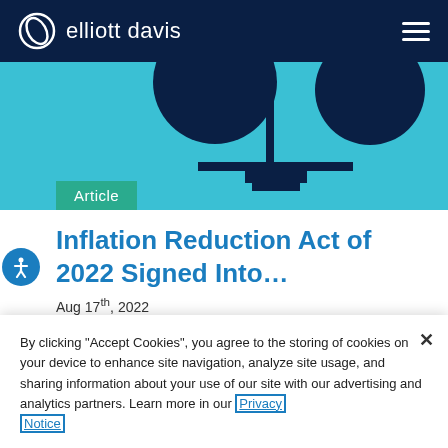elliott davis
[Figure (illustration): Abstract scales of justice illustration with dark navy circles on a teal/cyan background, representing legal balance or fairness.]
Article
Inflation Reduction Act of 2022 Signed Into…
Aug 17th, 2022
President Biden has signed the Inflation
By clicking "Accept Cookies", you agree to the storing of cookies on your device to enhance site navigation, analyze site usage, and sharing information about your use of our site with our advertising and analytics partners. Learn more in our Privacy Notice